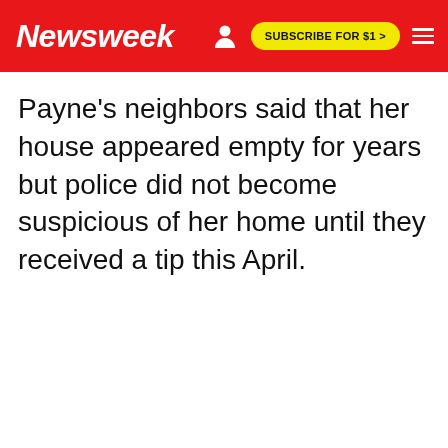Newsweek | SUBSCRIBE FOR $1 >
Payne's neighbors said that her house appeared empty for years but police did not become suspicious of her home until they received a tip this April.